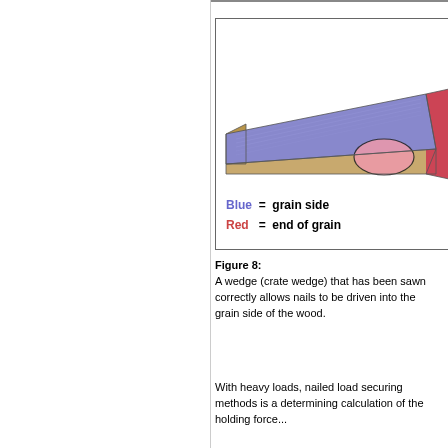[Figure (illustration): A wedge-shaped piece of wood (crate wedge) with the top face colored blue (grain side) and the right end face colored red/pink (end of grain). A pink highlighted region near the bottom right marks the end of grain area. Legend inside the box: Blue = grain side, Red = end of grain.]
Figure 8:
A wedge (crate wedge) that has been sawn correctly allows nails to be driven into the grain side of the wood.
With heavy loads, nailed load securing methods is a determining calculation of the holding force...